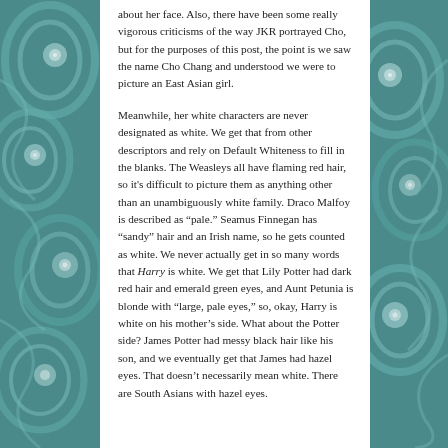about her face. Also, there have been some really vigorous criticisms of the way JKR portrayed Cho, but for the purposes of this post, the point is we saw the name Cho Chang and understood we were to picture an East Asian girl.

Meanwhile, her white characters are never designated as white. We get that from other descriptors and rely on Default Whiteness to fill in the blanks. The Weasleys all have flaming red hair, so it's difficult to picture them as anything other than an unambiguously white family. Draco Malfoy is described as “pale.” Seamus Finnegan has “sandy” hair and an Irish name, so he gets counted as white. We never actually get in so many words that Harry is white. We get that Lily Potter had dark red hair and emerald green eyes, and Aunt Petunia is blonde with “large, pale eyes,” so, okay, Harry is white on his mother’s side. What about the Potter side? James Potter had messy black hair like his son, and we eventually get that James had hazel eyes. That doesn’t necessarily mean white. There are South Asians with hazel eyes.